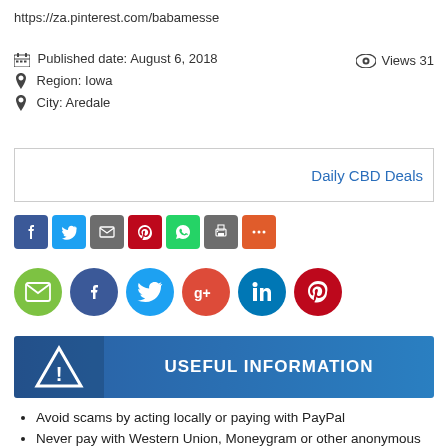https://za.pinterest.com/babamesse
Published date: August 6, 2018   Views 31
Region: Iowa
City: Aredale
Daily CBD Deals
[Figure (infographic): Social share buttons: Facebook (blue), Twitter (light blue), Email/share (grey), Pinterest (red), WhatsApp (green), Print (grey), More (orange-red)]
[Figure (infographic): Social media circle icons: Email (green), Facebook (dark blue), Twitter (cyan), Google+ (red-orange), LinkedIn (dark teal), Pinterest (red)]
[Figure (infographic): USEFUL INFORMATION banner with warning triangle icon on blue background]
Avoid scams by acting locally or paying with PayPal
Never pay with Western Union, Moneygram or other anonymous payment services
Don't buy or sell outside of your country. Don't accept cashier cheques from outside your country
This site is never involved in any transaction, and